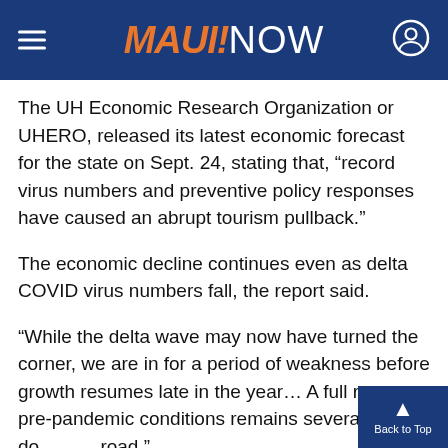MAUI NOW
The UH Economic Research Organization or UHERO, released its latest economic forecast for the state on Sept. 24, stating that, “record virus numbers and preventive policy responses have caused an abrupt tourism pullback.”
The economic decline continues even as delta COVID virus numbers fall, the report said.
“While the delta wave may now have turned the corner, we are in for a period of weakness before growth resumes late in the year… A full return to pre-pandemic conditions remains several years down the road.”